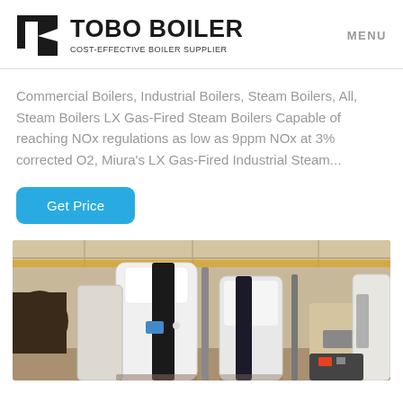[Figure (logo): Tobo Boiler logo with geometric black icon and bold text 'TOBO BOILER' with subtitle 'COST-EFFECTIVE BOILER SUPPLIER']
MENU
Commercial Boilers, Industrial Boilers, Steam Boilers, All, Steam Boilers LX Gas-Fired Steam Boilers Capable of reaching NOx regulations as low as 9ppm NOx at 3% corrected O2, Miura's LX Gas-Fired Industrial Steam...
[Figure (other): Blue rounded rectangle button labeled 'Get Price']
[Figure (photo): Industrial factory interior showing white and black vertical boiler units and other industrial equipment in a warehouse setting]